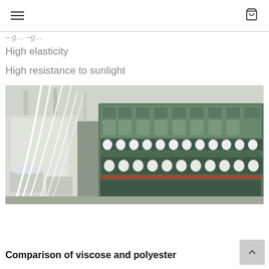[hamburger menu] [cart icon]
High elasticity
High resistance to sunlight
[Figure (photo): Industrial textile machinery with white threads/rovings being fed through spinning equipment in a factory setting. Green/teal colored spinning frames with white bobbins visible.]
Comparison of viscose and polyester